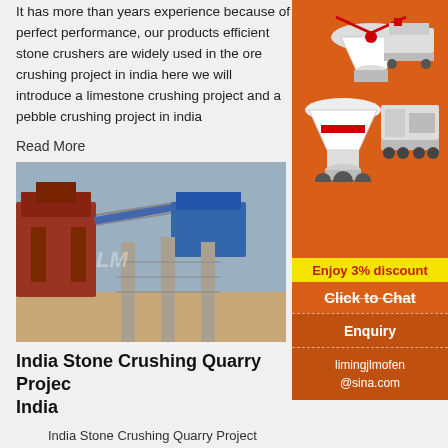It has more than years experience because of perfect performance, our products efficient stone crushers are widely used in the ore crushing project in india here we will introduce a limestone crushing project and a pebble crushing project in india
Read More
[Figure (photo): Industrial stone crushing machinery and equipment at a quarry site in India, with metal structures and blue equipment visible]
India Stone Crushing Quarry Project India
India Stone Crushing Quarry Project Irsefitaligit. India stone crushing quarry project india stone quarry project we are a largescale manufacturer specialiing in producing various mining machi including different types of sand and gravel equipment milling equipment mineral processing equipment and
[Figure (infographic): Orange sidebar advertisement showing mining/crushing machinery images, Enjoy 3% discount, Click to Chat, Enquiry, and limingjlmofen@sina.com contact details]